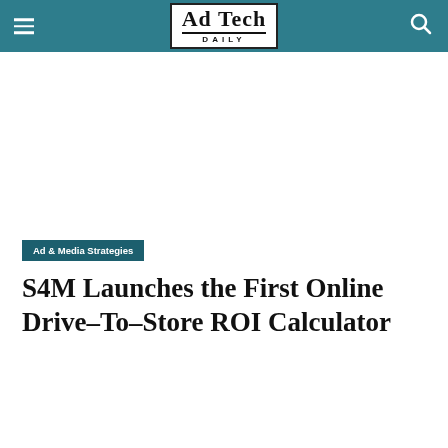Ad Tech Daily
Ad & Media Strategies
S4M Launches the First Online Drive-To-Store ROI Calculator